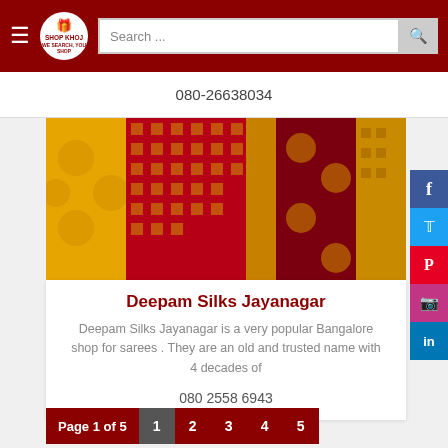SHOP KHOJ — Search bar with '080-26638034'
080-26638034
[Figure (photo): Close-up photo of colorful Indian silk sarees with intricate gold weave patterns on yellow, red, and maroon fabric.]
Deepam Silks Jayanagar
Deepam Silks Jayanagar is a very popular Bangalore shop for sarees . They are an old and trusted name with 4 decades of
080 2558 6943
Page 1 of 5  1  2  3  4  5